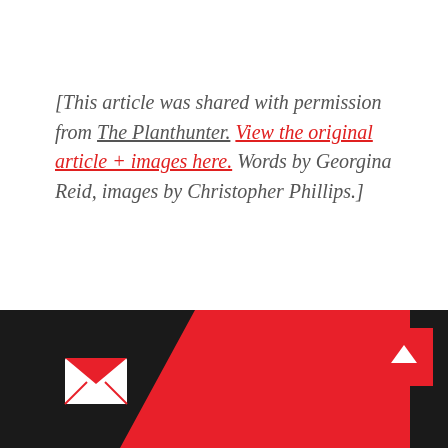[This article was shared with permission from The Planthunter. View the original article + images here. Words by Georgina Reid, images by Christopher Phillips.]
[Figure (infographic): Black footer bar with red diagonal banner containing a white envelope icon on the left, and a red back-to-top button with a white chevron arrow on the right.]